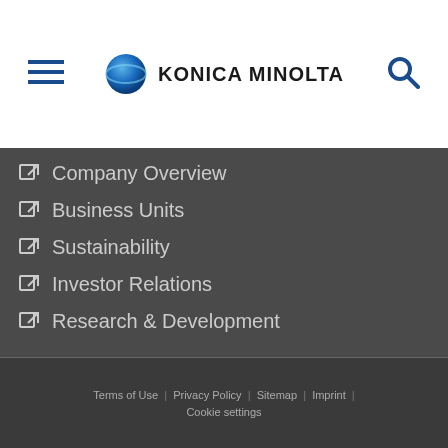Konica Minolta
Company Overview
Business Units
Sustainability
Investor Relations
Research & Development
Giving Shape to Ideas
Terms of Use | Privacy Policy | Sitemap | Imprint | Cookie settings